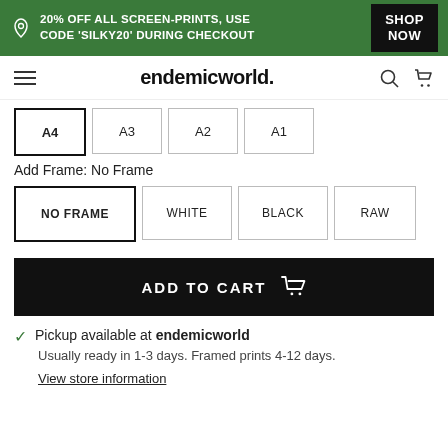20% OFF ALL SCREEN-PRINTS, USE CODE 'SILKY20' DURING CHECKOUT — SHOP NOW
endemicworld.
A4
A3
A2
A1
Add Frame: No Frame
NO FRAME
WHITE
BLACK
RAW
ADD TO CART
Pickup available at endemicworld
Usually ready in 1-3 days. Framed prints 4-12 days.
View store information